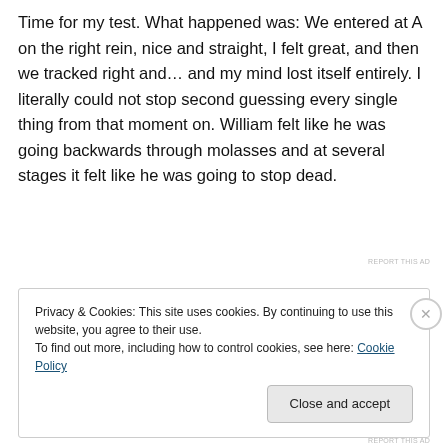him focused and dare I say, it kept me focused too. Time for my test. What happened was: We entered at A on the right rein, nice and straight, I felt great, and then we tracked right and… and my mind lost itself entirely. I literally could not stop second guessing every single thing from that moment on. William felt like he was going backwards through molasses and at several stages it felt like he was going to stop dead.
REPORT THIS AD
Privacy & Cookies: This site uses cookies. By continuing to use this website, you agree to their use.
To find out more, including how to control cookies, see here: Cookie Policy
Close and accept
REPORT THIS AD